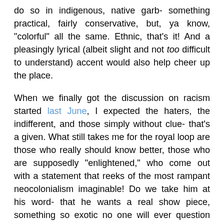do so in indigenous, native garb- something practical, fairly conservative, but, ya know, "colorful" all the same. Ethnic, that's it! And a pleasingly lyrical (albeit slight and not too difficult to understand) accent would also help cheer up the place.
When we finally got the discussion on racism started last June, I expected the haters, the indifferent, and those simply without clue- that's a given. What still takes me for the royal loop are those who really should know better, those who are supposedly "enlightened," who come out with a statement that reeks of the most rampant neocolonialism imaginable! Do we take him at his word- that he wants a real show piece, something so exotic no one will ever question just how broad minded they truly are? Hell, they could even send it out on tour if they ever get tired of displaying it in office!
Or is he just slick and media savvy enough to cleverly divert attention and confuse concurrent issues? How's that coming along, Gary?
Stan B.  at  12:00 AM    No comments: